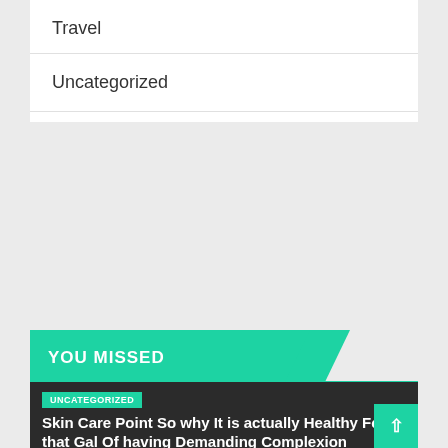Travel
Uncategorized
YOU MISSED
UNCATEGORIZED
Skin Care Point So why It is actually Healthy For that Gal Of having Demanding Complexion